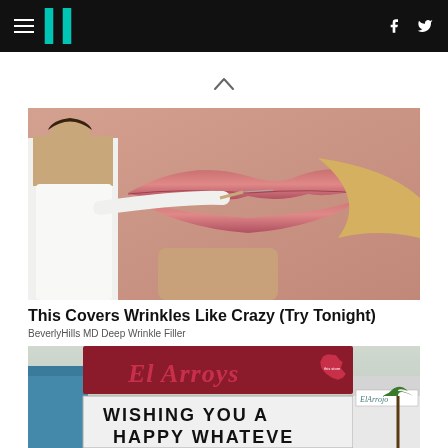HuffPost navigation bar with hamburger menu, logo, Facebook and Twitter icons
[Figure (photo): A medical professional in white coat administering an injection near a woman's lips, with a close-up of the woman's face showing full pink lips]
This Covers Wrinkles Like Crazy (Try Tonight)
BeverlyHills MD Deep Wrinkle Filler
[Figure (photo): El Arroyo restaurant sign reading WISHING YOU A HAPPY WHATEVER with Texas logo, and building in background]